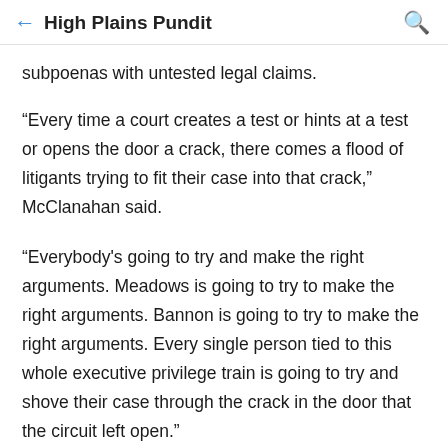High Plains Pundit
subpoenas with untested legal claims.
“Every time a court creates a test or hints at a test or opens the door a crack, there comes a flood of litigants trying to fit their case into that crack,” McClanahan said.
“Everybody's going to try and make the right arguments. Meadows is going to try to make the right arguments. Bannon is going to try to make the right arguments. Every single person tied to this whole executive privilege train is going to try and shove their case through the crack in the door that the circuit left open.”